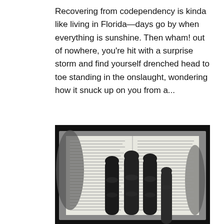Recovering from codependency is kinda like living in Florida—days go by when everything is sunshine. Then wham! out of nowhere, you're hit with a surprise storm and find yourself drenched head to toe standing in the onslaught, wondering how it snuck up on you from a...
[Figure (photo): Black and white photograph of hands pressing down on an open Bible, with fingers spread across the pages of text.]